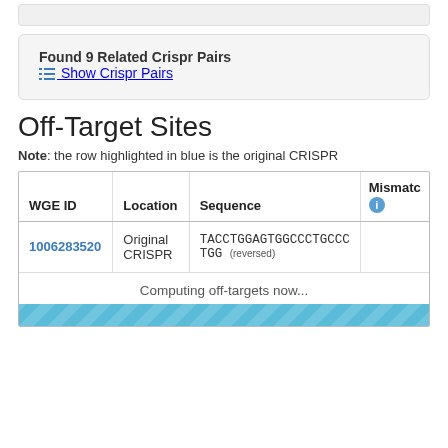Found 9 Related Crispr Pairs
Show Crispr Pairs
Off-Target Sites
Note: the row highlighted in blue is the original CRISPR
| WGE ID | Location | Sequence | Mismatch |
| --- | --- | --- | --- |
| 1006283520 | Original CRISPR | TACCTGGAGTGGCCCTGCCCTGG (reversed) |  |
Computing off-targets now...